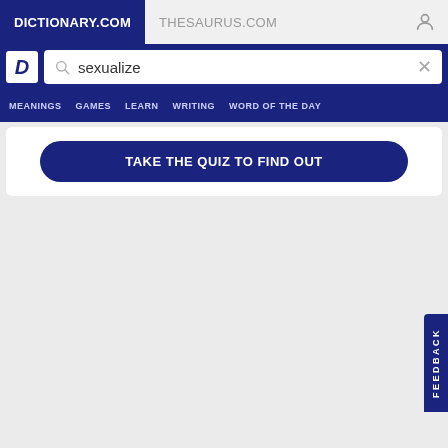DICTIONARY.COM   THESAURUS.COM
[Figure (screenshot): Dictionary.com website screenshot showing search bar with 'sexualize' query, navigation menu with MEANINGS, GAMES, LEARN, WRITING, WORD OF THE DAY, and a TAKE THE QUIZ TO FIND OUT button]
TAKE THE QUIZ TO FIND OUT
FEEDBACK